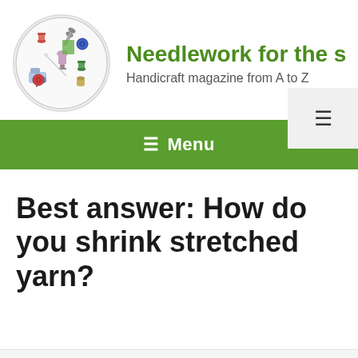[Figure (logo): Circular logo with sewing and needlework items including scissors, buttons, a dress form, sewing machine, thread spools, and other craft supplies arranged in a circle]
Needlework for the s
Handicraft magazine from A to Z
Best answer: How do you shrink stretched yarn?